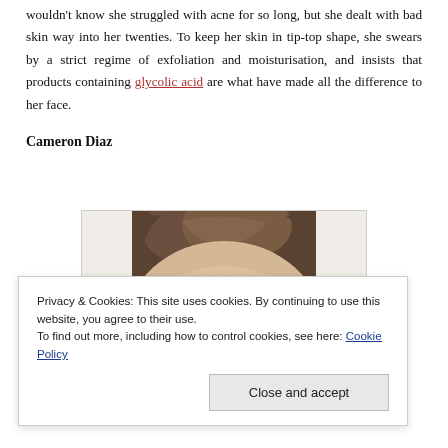wouldn't know she struggled with acne for so long, but she dealt with bad skin way into her twenties. To keep her skin in tip-top shape, she swears by a strict regime of exfoliation and moisturisation, and insists that products containing glycolic acid are what have made all the difference to her face.
Cameron Diaz
[Figure (photo): Photo of Cameron Diaz showing the top of her head/forehead with hair pulled back, against a light background.]
Privacy & Cookies: This site uses cookies. By continuing to use this website, you agree to their use.
To find out more, including how to control cookies, see here: Cookie Policy